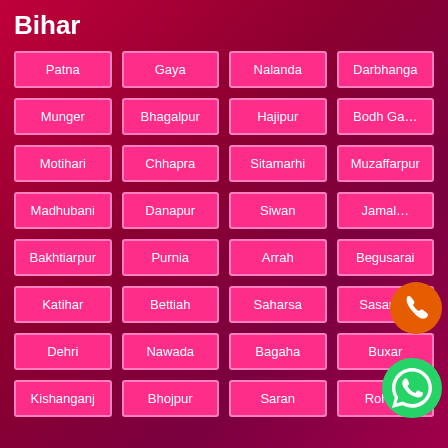Bihar
Patna
Gaya
Nalanda
Darbhanga
Munger
Bhagalpur
Hajipur
Bodh Ga…
Motihari
Chhapra
Sitamarhi
Muzaffarpur
Madhubani
Danapur
Siwan
Jamal…
Bakhtiarpur
Purnia
Arrah
Begusarai
Katihar
Bettiah
Saharsa
Sasaram
Dehri
Nawada
Bagaha
Buxar
Kishanganj
Bhojpur
Saran
Rohtas